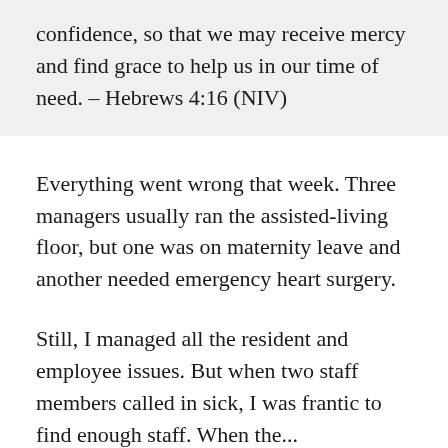confidence, so that we may receive mercy and find grace to help us in our time of need. – Hebrews 4:16 (NIV)
Everything went wrong that week. Three managers usually ran the assisted-living floor, but one was on maternity leave and another needed emergency heart surgery.
Still, I managed all the resident and employee issues. But when two staff members called in sick, I was frantic to find enough staff. When the...